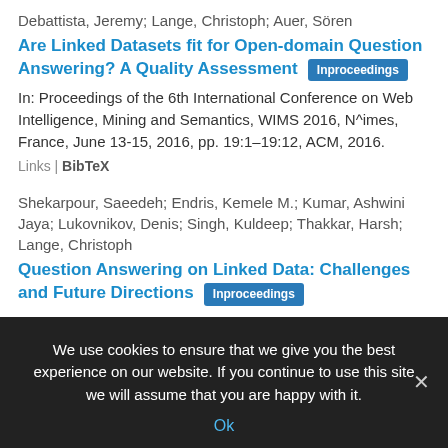Debattista, Jeremy; Lange, Christoph; Auer, Sören
Are Linked Datasets fit for Open-domain Question Answering? A Quality Assessment [Inproceedings]
In: Proceedings of the 6th International Conference on Web Intelligence, Mining and Semantics, WIMS 2016, N^imes, France, June 13-15, 2016, pp. 19:1–19:12, ACM, 2016.
Links | BibTeX
Shekarpour, Saeedeh; Endris, Kemele M.; Kumar, Ashwini Jaya; Lukovnikov, Denis; Singh, Kuldeep; Thakkar, Harsh; Lange, Christoph
Question Answering on Linked Data: Challenges and Future Directions [Inproceedings]
We use cookies to ensure that we give you the best experience on our website. If you continue to use this site we will assume that you are happy with it.
Ok